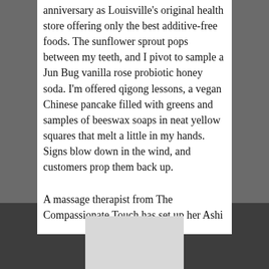celebrate Rainbow Blossom's 40th anniversary as Louisville's original health store offering only the best additive-free foods. The sunflower sprout pops between my teeth, and I pivot to sample a Jun Bug vanilla rose probiotic honey soda. I'm offered qigong lessons, a vegan Chinese pancake filled with greens and samples of beeswax soaps in neat yellow squares that melt a little in my hands. Signs blow down in the wind, and customers prop them back up.

A massage therapist from The Compassionate Touch has set up her Ashi
[Figure (other): Advertisement banner at the bottom of the page, light gray rectangle]